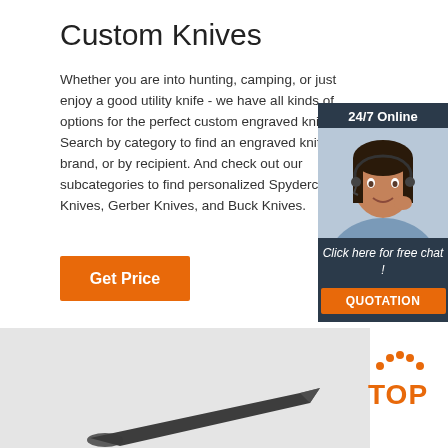Custom Knives
Whether you are into hunting, camping, or just enjoy a good utility knife - we have all kinds of options for the perfect custom engraved knife gift. Search by category to find an engraved knife by brand, or by recipient. And check out our subcategories to find personalized Spyderco Knives, Gerber Knives, and Buck Knives.
[Figure (other): Orange 'Get Price' button]
[Figure (other): 24/7 Online chat widget with female customer service representative, 'Click here for free chat!' text and orange QUOTATION button]
[Figure (photo): Photo of a dark knife blade on light background]
[Figure (logo): TOP logo with orange dots forming an arc above the word TOP in orange text]